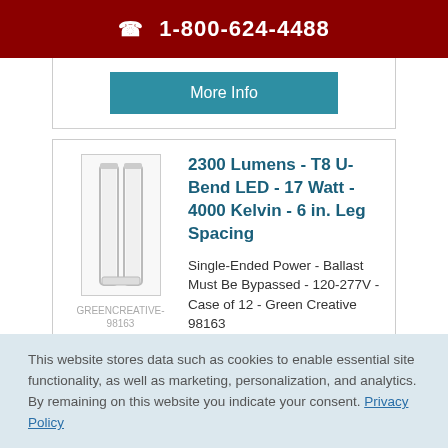☎ 1-800-624-4488
More Info
[Figure (photo): Product image of a T8 U-Bend LED tube lamp, white, rectangular shape with visible end caps.]
GREENCREATIVE-98163
2300 Lumens - T8 U-Bend LED - 17 Watt - 4000 Kelvin - 6 in. Leg Spacing
Single-Ended Power - Ballast Must Be Bypassed - 120-277V - Case of 12 - Green Creative 98163
This website stores data such as cookies to enable essential site functionality, as well as marketing, personalization, and analytics. By remaining on this website you indicate your consent. Privacy Policy